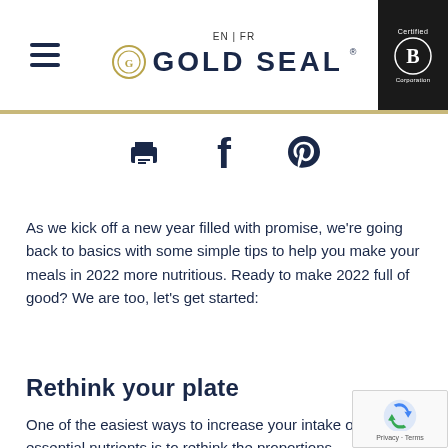Gold Seal — EN | FR — Certified B Corporation
[Figure (infographic): Social sharing icons: printer, Facebook, Pinterest]
As we kick off a new year filled with promise, we're going back to basics with some simple tips to help you make your meals in 2022 more nutritious. Ready to make 2022 full of good? We are too, let's get started:
Rethink your plate
One of the easiest ways to increase your intake of essential nutrients is to rethink the proportions